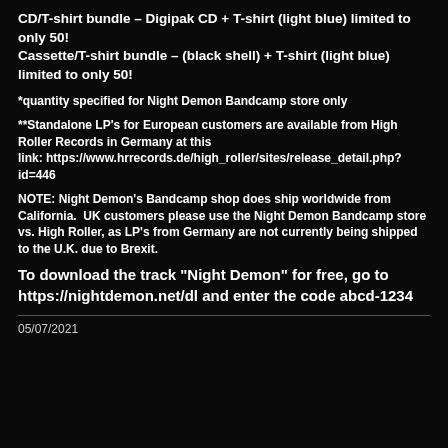CD/T-shirt bundle – Digipak CD + T-shirt (light blue) limited to only 50!
Cassette/T-shirt bundle – (black shell) + T-shirt (light blue) limited to only 50!
*quantity specified for Night Demon Bandcamp store only
**Standalone LP's for European customers are available from High Roller Records in Germany at this link: https://www.hrrecords.de/high_roller/sites/release_detail.php?id=446
NOTE: Night Demon's Bandcamp shop does ship worldwide from California.  UK customers please use the Night Demon Bandcamp store vs. High Roller, as LP's from Germany are not currently being shipped to the U.K. due to Brexit.
To download the track "Night Demon" for free, go to https://nightdemon.net/dl and enter the code abcd-1234
05/07/2021